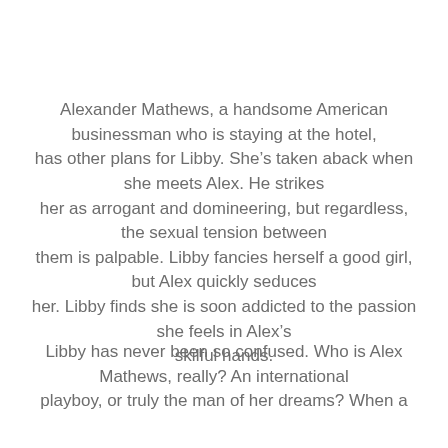Alexander Mathews, a handsome American businessman who is staying at the hotel, has other plans for Libby. She’s taken aback when she meets Alex. He strikes her as arrogant and domineering, but regardless, the sexual tension between them is palpable. Libby fancies herself a good girl, but Alex quickly seduces her. Libby finds she is soon addicted to the passion she feels in Alex’s skilful hands.
Libby has never been so confused. Who is Alex Mathews, really? An international playboy, or truly the man of her dreams? When a